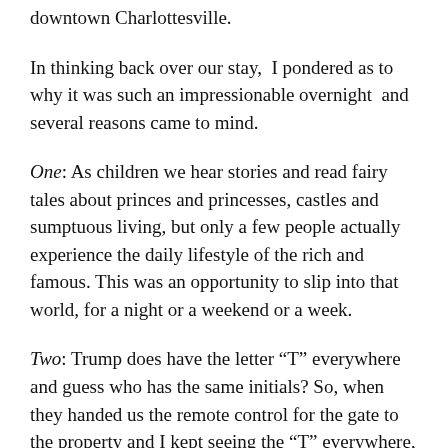downtown Charlottesville.
In thinking back over our stay,  I pondered as to why it was such an impressionable overnight  and several reasons came to mind.
One: As children we hear stories and read fairy tales about princes and princesses, castles and sumptuous living, but only a few people actually experience the daily lifestyle of the rich and famous. This was an opportunity to slip into that world, for a night or a weekend or a week.
Two: Trump does have the letter “T” everywhere and guess who has the same initials? So, when they handed us the remote control for the gate to the property and I kept seeing the “T” everywhere, well, it kind of did feel like home. The fact that the manor house has only